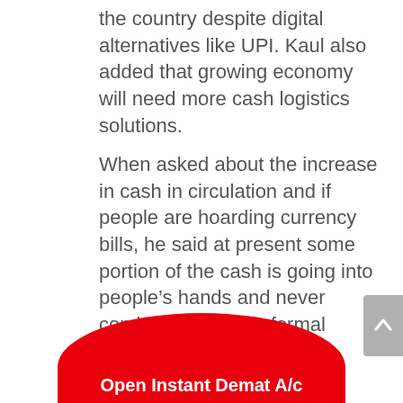the country despite digital alternatives like UPI. Kaul also added that growing economy will need more cash logistics solutions.
When asked about the increase in cash in circulation and if people are hoarding currency bills, he said at present some portion of the cash is going into people's hands and never coming back to the formal system.
About the impact of the Central Bank Digital Currency (CBDC), Kaul said the usage of the digital payment will be largely...